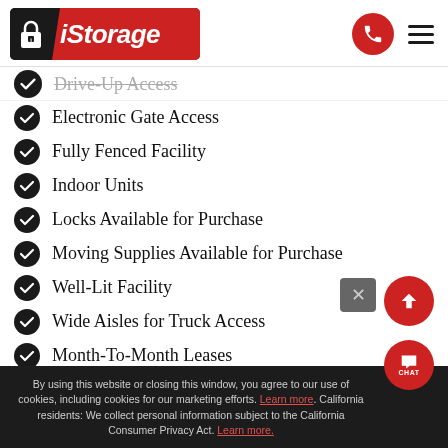[Figure (logo): iStorage self-storage company logo with padlock icon on black and red background]
Drive-Up Access (partially visible, cut off)
Electronic Gate Access
Fully Fenced Facility
Indoor Units
Locks Available for Purchase
Moving Supplies Available for Purchase
Well-Lit Facility
Wide Aisles for Truck Access
Month-To-Month Leases
No Deposit Required
By using this website or closing this window, you agree to our use of cookies, including cookies for our marketing efforts. Learn more. California residents: We collect personal information subject to the California Consumer Privacy Act. Learn more.